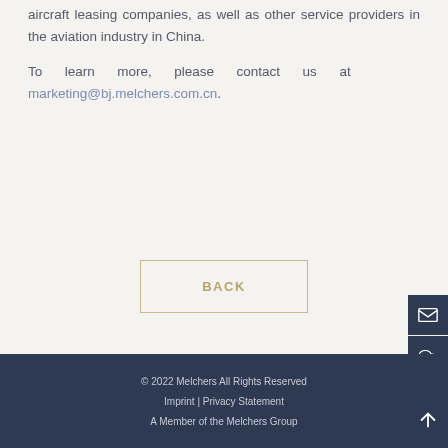aircraft leasing companies, as well as other service providers in the aviation industry in China.
To learn more, please contact us at marketing@bj.melchers.com.cn.
BACK
© 2022 Melchers All Rights Reserved
Imprint | Privacy Statement
A Member of the Melchers Group